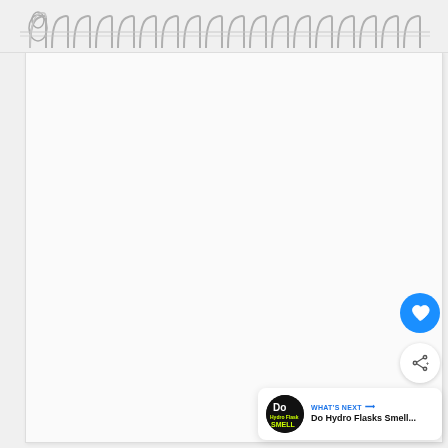[Figure (illustration): Spiral notebook top binding area showing metallic coil rings along the top edge of a notepad page. The notebook page is white/light gray, blank. In the bottom-right corner there are two floating action buttons: a blue circle with a heart icon (like button) and a white circle with a share icon. Below those is a 'WHAT'S NEXT' card showing a thumbnail, the label 'WHAT'S NEXT →', and the title 'Do Hydro Flasks Smell...']